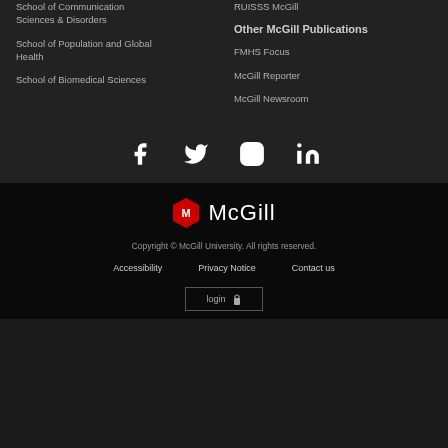School of Communication Sciences & Disorders
School of Population and Global Health
School of Biomedical Sciences
RUISSS McGill
Other McGill Publications
FMHS Focus
McGill Reporter
McGill Newsroom
[Figure (logo): Social media icons: Facebook, Twitter, Instagram, LinkedIn]
[Figure (logo): McGill University shield logo with 'McGill' text]
Copyright © McGill University. All rights reserved.
Accessibility | Privacy Notice | Contact us | login